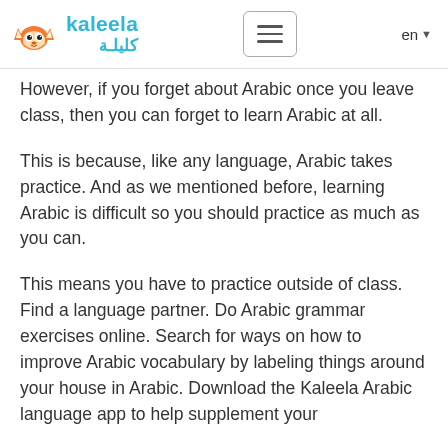kaleela / كليلة — en
However, if you forget about Arabic once you leave class, then you can forget to learn Arabic at all.
This is because, like any language, Arabic takes practice. And as we mentioned before, learning Arabic is difficult so you should practice as much as you can.
This means you have to practice outside of class. Find a language partner. Do Arabic grammar exercises online. Search for ways on how to improve Arabic vocabulary by labeling things around your house in Arabic. Download the Kaleela Arabic language app to help supplement your